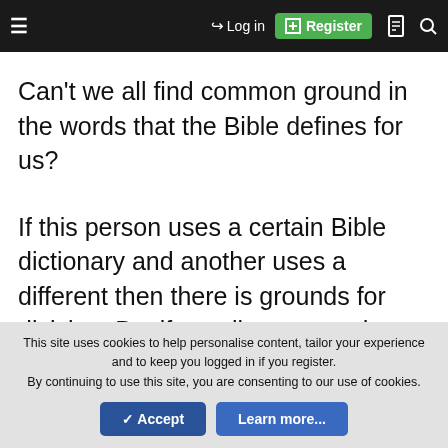≡  →] Log in  [+] Register  📄  🔍
Can't we all find common ground in the words that the Bible defines for us?
If this person uses a certain Bible dictionary and another uses a different then there is grounds for division. But if we all agree on the definition the Bible...
This site uses cookies to help personalise content, tailor your experience and to keep you logged in if you register.
By continuing to use this site, you are consenting to our use of cookies.
✓ Accept   Learn more...